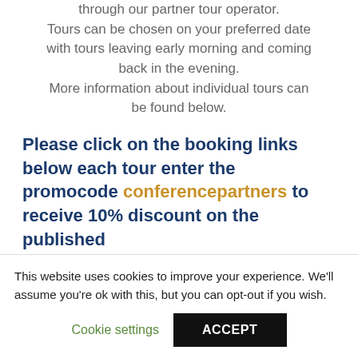through our partner tour operator. Tours can be chosen on your preferred date with tours leaving early morning and coming back in the evening. More information about individual tours can be found below.
Please click on the booking links below each tour enter the promocode conferencepartners to receive 10% discount on the published
This website uses cookies to improve your experience. We'll assume you're ok with this, but you can opt-out if you wish.
Cookie settings
ACCEPT